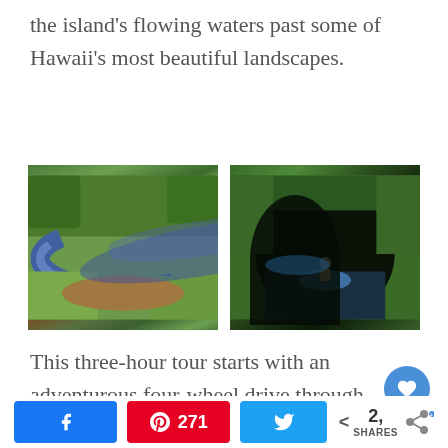the island's flowing waters past some of Hawaii's most beautiful landscapes.
[Figure (photo): Aerial view of people tubing through a winding green canal surrounded by lush tropical vegetation]
[Figure (photo): Person sitting on a blue inner tube floating into a dark cave/tunnel entrance surrounded by dense tropical greenery]
This three-hour tour starts with an adventurous four-wheel drive through the former Lihue
[Figure (other): Social share buttons: Facebook, Pinterest (271), Twitter, and a share count showing 2, SHARES]